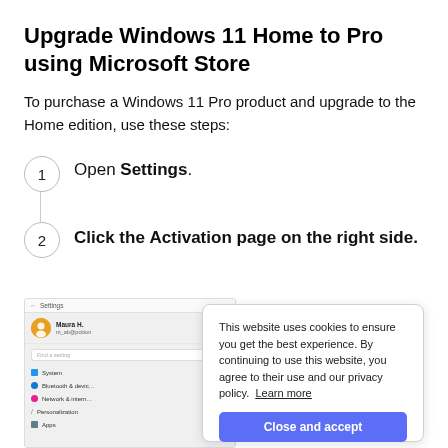Upgrade Windows 11 Home to Pro using Microsoft Store
To purchase a Windows 11 Pro product and upgrade to the Home edition, use these steps:
1. Open Settings.
2. Click the Activation page on the right side.
[Figure (screenshot): Windows 11 Settings sidebar showing user Maura H. with menu items: System, Bluetooth & devices, Network & internet, Personalization, Apps; overlaid by a cookie consent popup reading 'This website uses cookies to ensure you get the best experience. By continuing to use this website, you agree to their use and our privacy policy. Learn more' with a 'Close and accept' button.]